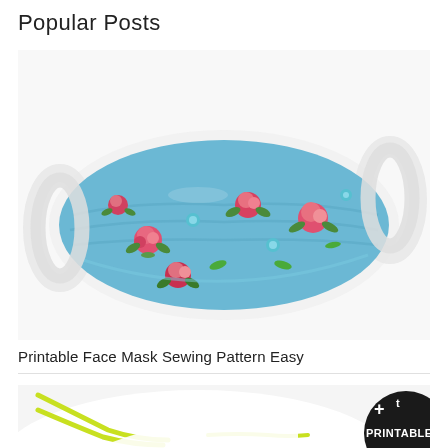Popular Posts
[Figure (photo): A blue floral fabric face mask with white elastic ear loops, displaying red roses and green leaves on a light blue background, photographed on a white surface.]
Printable Face Mask Sewing Pattern Easy
[Figure (photo): Partial view of a white face mask with yellow/lime green elastic cord, with a black circular badge in the bottom right corner showing '+' and 't' symbols and the word 'PRINTABLE' in white bold text.]